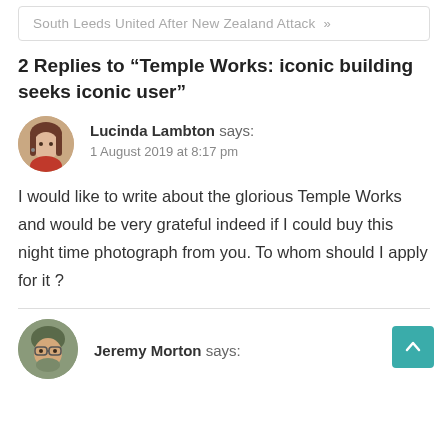South Leeds United After New Zealand Attack »
2 Replies to “Temple Works: iconic building seeks iconic user”
Lucinda Lambton says:
1 August 2019 at 8:17 pm

I would like to write about the glorious Temple Works and would be very grateful indeed if I could buy this night time photograph from you. To whom should I apply for it ?
Jeremy Morton says: